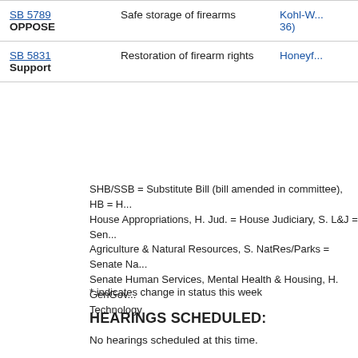| Bill | Subject | Sponsor |
| --- | --- | --- |
| SB 5789 OPPOSE | Safe storage of firearms | Kohl-W... 36) |
| SB 5831 Support | Restoration of firearm rights | Honeyf... |
SHB/SSB = Substitute Bill (bill amended in committee), HB = H... House Appropriations, H. Jud. = House Judiciary, S. L&J = Sen... Agriculture & Natural Resources, S. NatRes/Parks = Senate Na... Senate Human Services, Mental Health & Housing, H. GenGov... Technology
* indicates change in status this week
HEARINGS SCHEDULED:
No hearings scheduled at this time.
LEGISLATIVE HOT LINE:
You may reach your Representatives and Senator by calling the... Toll free!!!  The hearing impaired may obtain TDD access at 1-8...